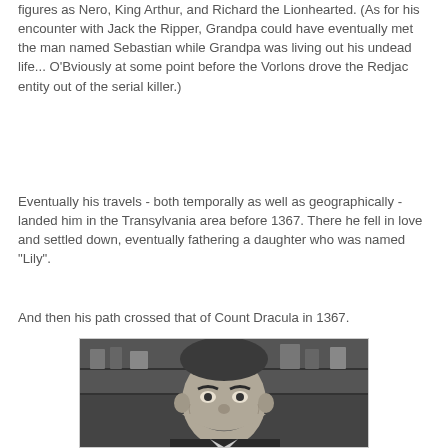figures as Nero, King Arthur, and Richard the Lionhearted. (As for his encounter with Jack the Ripper, Grandpa could have eventually met the man named Sebastian while Grandpa was living out his undead life... O'Bviously at some point before the Vorlons drove the Redjac entity out of the serial killer.)
Eventually his travels - both temporally as well as geographically - landed him in the Transylvania area before 1367. There he fell in love and settled down, eventually fathering a daughter who was named "Lily".
And then his path crossed that of Count Dracula in 1367.
[Figure (photo): Black and white photograph of an elderly man with a widow's peak hairstyle, smiling with a mischievous grin, wearing a dark suit and light-colored tie, with shelves visible in the background. Appears to be Grandpa Munster from The Munsters.]